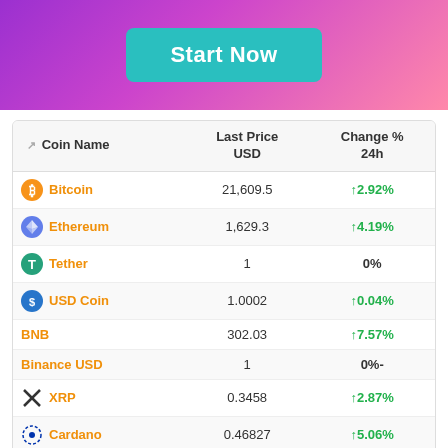[Figure (illustration): Purple-pink gradient banner with a teal 'Start Now' button in the center]
| Coin Name | Last Price USD | Change % 24h |
| --- | --- | --- |
| Bitcoin | 21,609.5 | ↑2.92% |
| Ethereum | 1,629.3 | ↑4.19% |
| Tether | 1 | 0% |
| USD Coin | 1.0002 | ↑0.04% |
| BNB | 302.03 | ↑7.57% |
| Binance USD | 1 | 0%- |
| XRP | 0.3458 | ↑2.87% |
| Cardano | 0.46827 | ↑5.06% |
| Solana | 36.477 | ↑4.7% |
| Dogecoin | 0.069939 | ↑1.02% |